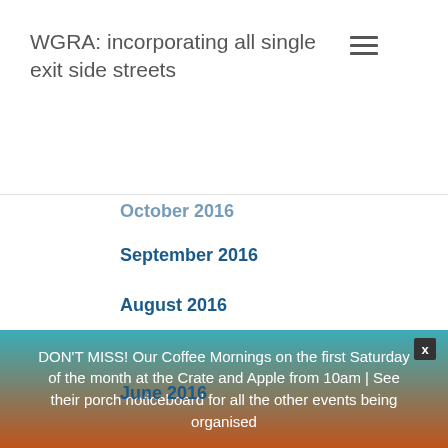WGRA: incorporating all single exit side streets
October 2016
September 2016
August 2016
July 2016
June 2016
May 2016
April 2016
March 2016
DON'T MISS! Our Coffee Mornings on the first Saturday of the month at the Crate and Apple from 10am | See their porch noticeboard for all the other events being organised